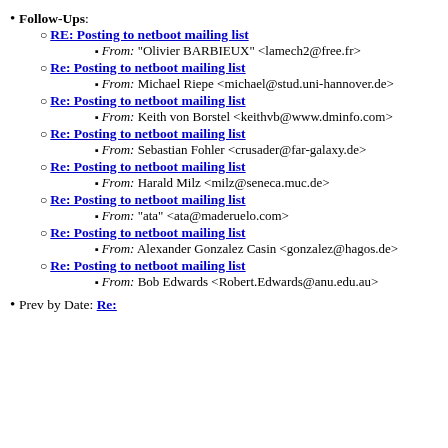Follow-Ups:
RE: Posting to netboot mailing list (link)
From: "Olivier BARBIEUX" <lamech2@free.fr>
Re: Posting to netboot mailing list (link)
From: Michael Riepe <michael@stud.uni-hannover.de>
Re: Posting to netboot mailing list (link)
From: Keith von Borstel <keithvb@www.dminfo.com>
Re: Posting to netboot mailing list (link)
From: Sebastian Fohler <crusader@far-galaxy.de>
Re: Posting to netboot mailing list (link)
From: Harald Milz <milz@seneca.muc.de>
Re: Posting to netboot mailing list (link)
From: "ata" <ata@maderuelo.com>
Re: Posting to netboot mailing list (link)
From: Alexander Gonzalez Casin <gonzalez@hagos.de>
Re: Posting to netboot mailing list (link)
From: Bob Edwards <Robert.Edwards@anu.edu.au>
Prev by Date: Re: